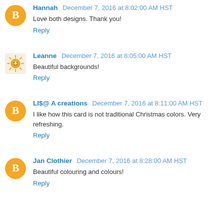Hannah December 7, 2016 at 8:02:00 AM HST
Love both designs. Thank you!
Reply
Leanne December 7, 2016 at 8:05:00 AM HST
Beautiful backgrounds!
Reply
LI$@ A creations December 7, 2016 at 8:11:00 AM HST
I like how this card is not traditional Christmas colors. Very refreshing.
Reply
Jan Clothier December 7, 2016 at 8:28:00 AM HST
Beautiful colouring and colours!
Reply